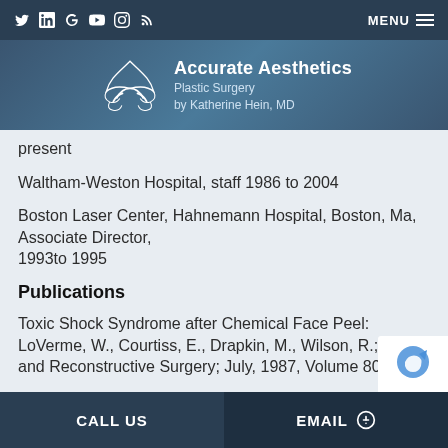Accurate Aesthetics Plastic Surgery by Katherine Hein, MD
present
Waltham-Weston Hospital, staff 1986 to 2004
Boston Laser Center, Hahnemann Hospital, Boston, Ma, Associate Director, 1993to 1995
Publications
Toxic Shock Syndrome after Chemical Face Peel: LoVerme, W., Courtiss, E., Drapkin, M., Wilson, R.; Plastic and Reconstructive Surgery; July, 1987, Volume 80, #1
Precise Terminology for Suction Lipectomy; Lo s, E.; Plastic and Reconstructive 985, Volume 75 #1
CALL US   EMAIL